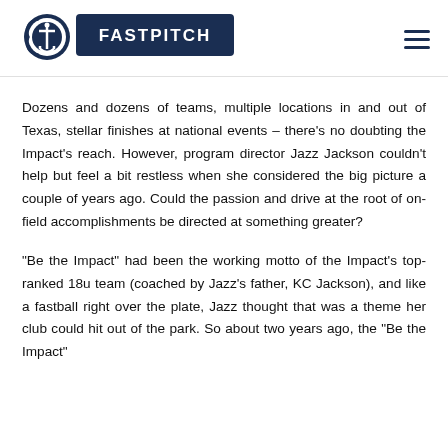[Figure (logo): TC Fastpitch logo with a stylized C and anchor emblem on the left, and a navy blue rectangle with white text reading FASTPITCH on the right]
Dozens and dozens of teams, multiple locations in and out of Texas, stellar finishes at national events – there's no doubting the Impact's reach. However, program director Jazz Jackson couldn't help but feel a bit restless when she considered the big picture a couple of years ago. Could the passion and drive at the root of on-field accomplishments be directed at something greater?
“Be the Impact” had been the working motto of the Impact’s top-ranked 18u team (coached by Jazz’s father, KC Jackson), and like a fastball right over the plate, Jazz thought that was a theme her club could hit out of the park. So about two years ago, the “Be the Impact”